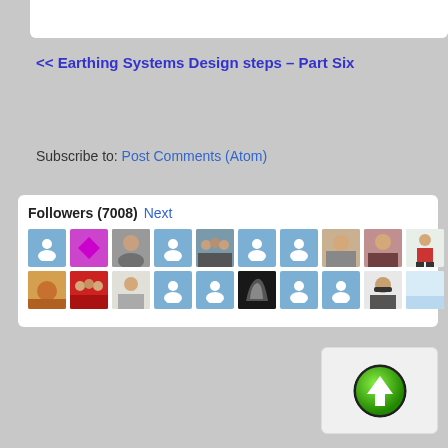<< Earthing Systems Design steps – Part Six
Subscribe to: Post Comments (Atom)
[Figure (screenshot): Followers widget showing 7008 followers with avatar thumbnails in two rows, a Next link, and a scroll-to-top button]
Followers (7008) Next